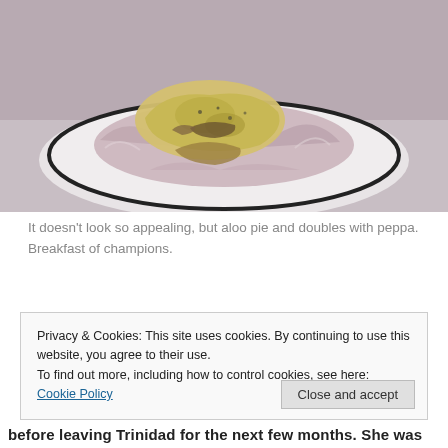[Figure (photo): A photo of aloo pie and doubles with peppa served on a plate, wrapped in what appears to be wax or parchment paper. The food is yellowish-brown fried dough with filling, sitting on a white plate with dark rim, on a light surface.]
It doesn't look so appealing, but aloo pie and doubles with peppa. Breakfast of champions.
Privacy & Cookies: This site uses cookies. By continuing to use this website, you agree to their use.
To find out more, including how to control cookies, see here: Cookie Policy
before leaving Trinidad for the next few months. She was